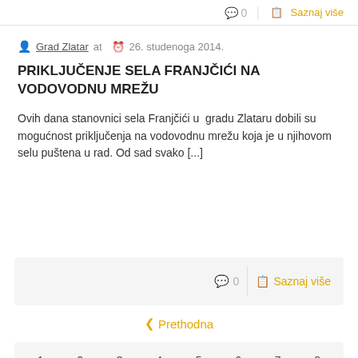0  Saznaj više
Grad Zlatar at  26. studenoga 2014.
PRIKLJUČENJE SELA FRANJČIĆI NA VODOVODNU MREŽU
Ovih dana stanovnici sela Franjčići u  gradu Zlataru dobili su mogućnost priključenja na vodovodnu mrežu koja je u njihovom selu puštena u rad. Od sad svako [...]
0  Saznaj više
‹  Prethodna
| 1 | 2 | 3 | 4 | 5 | 6 | 7 | 8 |
| 9 | 10 | 11 | 12 | 13 | 14 | 15 | 16 |
| 17 | 18 | 19 | 20 | 21 | 22 | 23 | 24 |